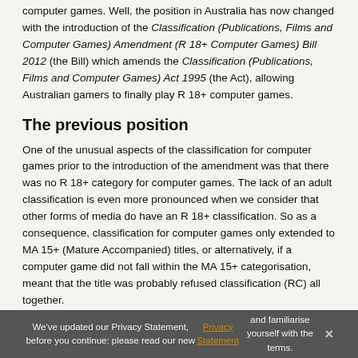computer games. Well, the position in Australia has now changed with the introduction of the Classification (Publications, Films and Computer Games) Amendment (R 18+ Computer Games) Bill 2012 (the Bill) which amends the Classification (Publications, Films and Computer Games) Act 1995 (the Act), allowing Australian gamers to finally play R 18+ computer games.
The previous position
One of the unusual aspects of the classification for computer games prior to the introduction of the amendment was that there was no R 18+ category for computer games. The lack of an adult classification is even more pronounced when we consider that other forms of media do have an R 18+ classification. So as a consequence, classification for computer games only extended to MA 15+ (Mature Accompanied) titles, or alternatively, if a computer game did not fall within the MA 15+ categorisation, meant that the title was probably refused classification (RC) all together.
The power of classifying computer games (and other forms of media) rests with the Classification Board (the Board) and is made up of a representative sample of the general Australian population, with the decisions of the Board guided by the National Classification Code (the
We've updated our Privacy Statement, before you continue: please read our new Privacy Statement and familiarise yourself with the terms.